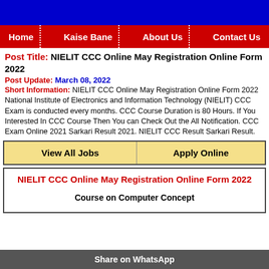Home | Kaise Bane | About Us | Contact Us
Post Title: NIELIT CCC Online May Registration Online Form 2022
Post Update: March 08, 2022
Short Information: NIELIT CCC Online May Registration Online Form 2022 National Institute of Electronics and Information Technology (NIELIT) CCC Exam is conducted every months. CCC Course Duration is 80 Hours. If You Interested In CCC Course Then You can Check Out the All Notification. CCC Exam Online 2021 Sarkari Result 2021. NIELIT CCC Result Sarkari Result.
| View All Jobs | Apply Online |
| --- | --- |
NIELIT CCC Online May Registration Online Form 2022
Course on Computer Concept
Share on WhatsApp